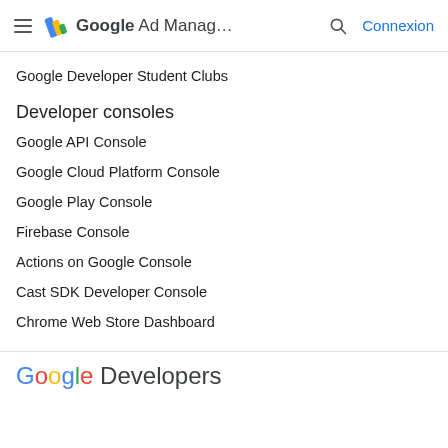Google Ad Manag... Connexion
Google Developer Student Clubs
Developer consoles
Google API Console
Google Cloud Platform Console
Google Play Console
Firebase Console
Actions on Google Console
Cast SDK Developer Console
Chrome Web Store Dashboard
Google Developers